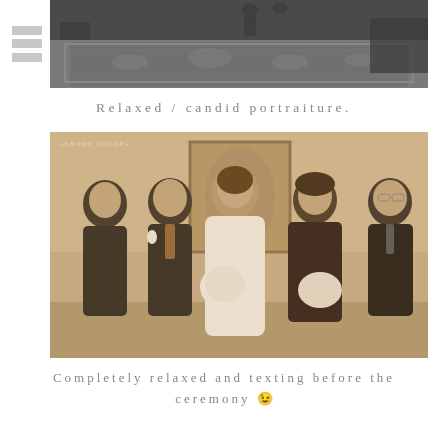[Figure (photo): Black and white overhead/wide-angle photo of an elegant interior room with ornate rug and furniture, people visible in background]
Relaxed / candid portraiture.
[Figure (photo): Sepia-toned wedding photo showing bride in white dress holding bouquet with bridesmaids and groomsmen laughing and posing indoors. Watermark reads SHOOT SCOOP.]
Completely relaxed and texting before the ceremony 😉